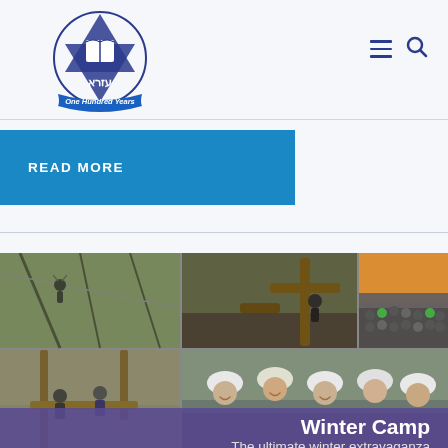[Figure (logo): Ezra organization logo - Star of David with open book, Hebrew text, and 'One Hundred Years' banner ribbon in blue and white]
[Figure (other): Navigation icons: hamburger menu (three horizontal lines) and search magnifier icon, in dark blue]
READ MORE
[Figure (photo): Photo collage of winter camp activities: zip-lining through trees, climbing wooden log structure, group photo of teenagers at dusk, low ropes course activity, and smiling group of young people wearing safety helmets. Overlaid with purple/indigo banner at the bottom.]
Winter Camp
The ultimate winter extravaganza